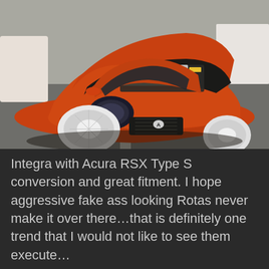[Figure (photo): Orange/red modified Honda Integra with Acura RSX Type S front conversion, hood open showing engine bay, lowered stance with white wheels, parked in a lot with other vehicles in the background.]
Integra with Acura RSX Type S conversion and great fitment. I hope aggressive fake ass looking Rotas never make it over there…that is definitely one trend that I would not like to see them execute…